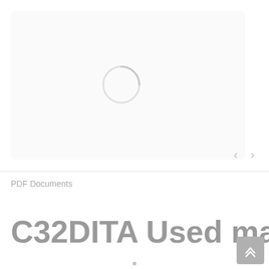[Figure (other): Image carousel area with a loading spinner (partial circle) in the center, and previous/next navigation arrows at the bottom right. The background is white with a faint rounded rectangle placeholder area.]
PDF Documents
C32DITA Used marine